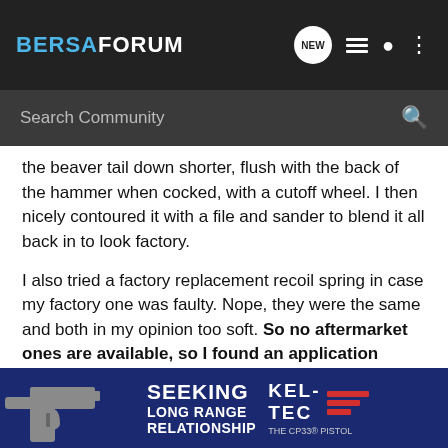BERSAFORUM
the beaver tail down shorter, flush with the back of the hammer when cocked, with a cutoff wheel. I then nicely contoured it with a file and sander to blend it all back in to look factory.
I also tried a factory replacement recoil spring in case my factory one was faulty. Nope, they were the same and both in my opinion too soft. So no aftermarket ones are available, so I found an application close enough to work. The Walther PP "larger" 380 has an aftermarket Wolfe spring available that is heavier than the factory Bersa one. Its slightly shorter and smaller diameter, but it works. And it softens recoil a fair bit, with still being reliable. This lessen... will help th...
[Figure (advertisement): Kel-Tec CP33 pistol advertisement with text SEEKING LONG RANGE RELATIONSHIP]